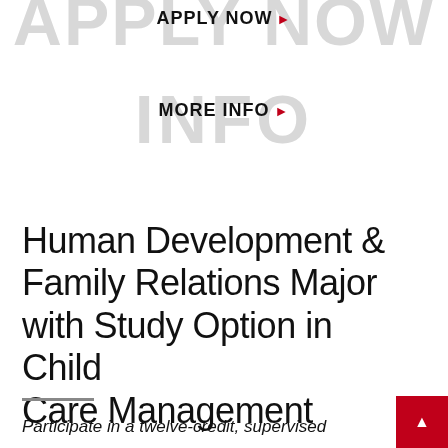APPLY NOW ▶
MORE INFO ▶
Human Development & Family Relations Major with Study Option in Child Care Management
Participate in a twelve-credit, supervised